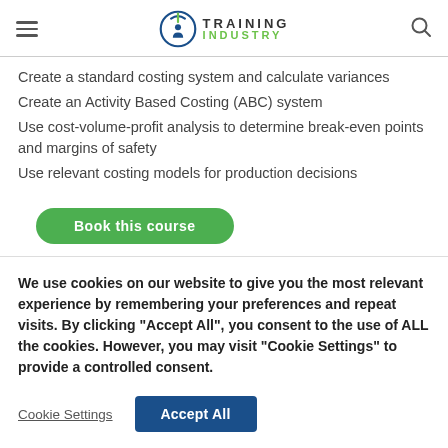Training Industry
Create a standard costing system and calculate variances
Create an Activity Based Costing (ABC) system
Use cost-volume-profit analysis to determine break-even points and margins of safety
Use relevant costing models for production decisions
Book this course
We use cookies on our website to give you the most relevant experience by remembering your preferences and repeat visits. By clicking “Accept All”, you consent to the use of ALL the cookies. However, you may visit “Cookie Settings” to provide a controlled consent.
Cookie Settings
Accept All